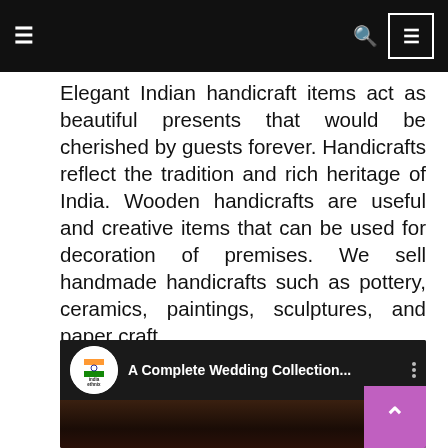≡  🔍  ≡
Elegant Indian handicraft items act as beautiful presents that would be cherished by guests forever. Handicrafts reflect the tradition and rich heritage of India. Wooden handicrafts are useful and creative items that can be used for decoration of premises. We sell handmade handicrafts such as pottery, ceramics, paintings, sculptures, and paper craft.
[Figure (screenshot): YouTube-style video embed showing 'india ethnix' channel logo and title 'A Complete Wedding Collection...' with a dark thumbnail preview of handicraft figurines and a back-to-top purple button with a white chevron.]